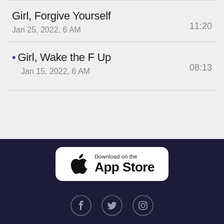Girl, Forgive Yourself
Jan 25, 2022, 6 AM  11:20
• Girl, Wake the F Up
Jan 15, 2022, 6 AM  08:13
[Figure (screenshot): Download on the App Store button with Apple logo]
[Figure (infographic): Social media icons: Facebook, Twitter, Instagram]